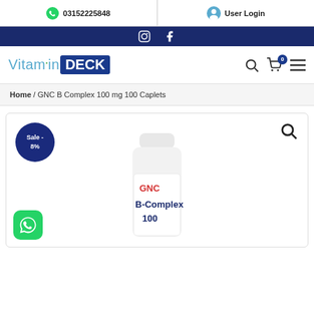03152225848 | User Login
[Figure (screenshot): Social media icons bar (Instagram and Facebook) on dark blue background]
[Figure (logo): VitaminDECK logo with search, cart (0), and menu icons]
Home / GNC B Complex 100 mg 100 Caplets
[Figure (photo): Product page showing GNC B-Complex 100 bottle with Sale -8% badge, search icon, WhatsApp button, and partial bottle image showing GNC B-Complex 100 label]